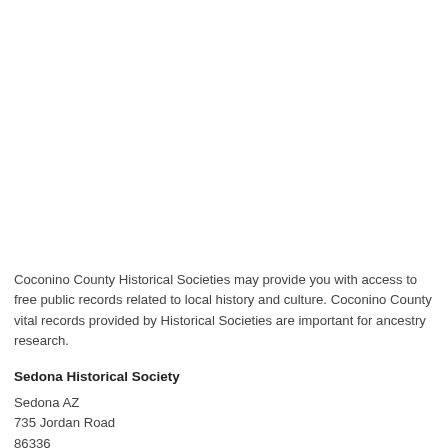Coconino County Historical Societies may provide you with access to free public records related to local history and culture. Coconino County vital records provided by Historical Societies are important for ancestry research.
Sedona Historical Society
Sedona AZ
735 Jordan Road
86336